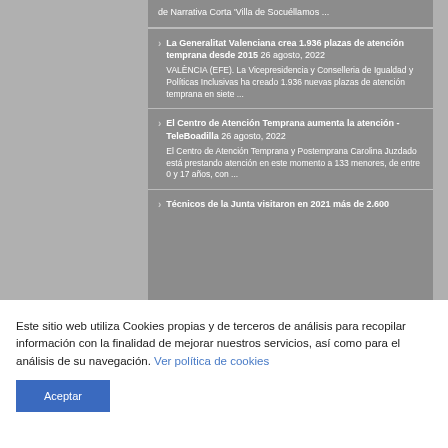de Narrativa Corta 'Villa de Socuéllamos ...
La Generalitat Valenciana crea 1.936 plazas de atención temprana desde 2015 26 agosto, 2022 VALÈNCIA (EFE). La Vicepresidencia y Conselleria de Igualdad y Políticas Inclusivas ha creado 1.936 nuevas plazas de atención temprana en siete ...
El Centro de Atención Temprana aumenta la atención - TeleBoadilla 26 agosto, 2022 El Centro de Atención Temprana y Postemprana Carolina Juzdado está prestando atención en este momento a 133 menores, de entre 0 y 17 años, con ...
Técnicos de la Junta visitaron en 2021 más de 2.600
Este sitio web utiliza Cookies propias y de terceros de análisis para recopilar información con la finalidad de mejorar nuestros servicios, así como para el análisis de su navegación. Ver política de cookies
Aceptar